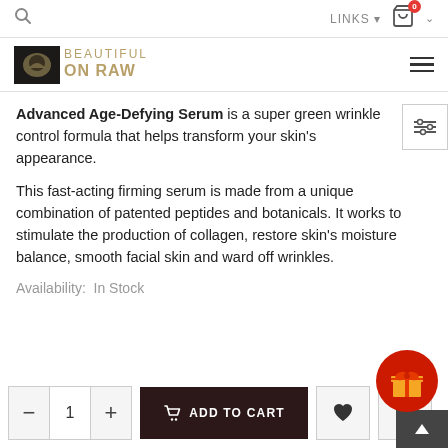Navigation bar with search icon, LINKS dropdown, cart icon with badge 0, and chevron
[Figure (logo): Beautiful on Raw logo with dark square icon and gold text]
Advanced Age-Defying Serum is a super green wrinkle control formula that helps transform your skin's appearance.
This fast-acting firming serum is made from a unique combination of patented peptides and botanicals. It works to stimulate the production of collagen, restore skin's moisture balance, smooth facial skin and ward off wrinkles.
Availability:  In Stock
[Figure (screenshot): Add to cart section with quantity control (minus, 1, plus), ADD TO CART button, heart icon, bar chart icon, gift circle icon, and back-to-top button]